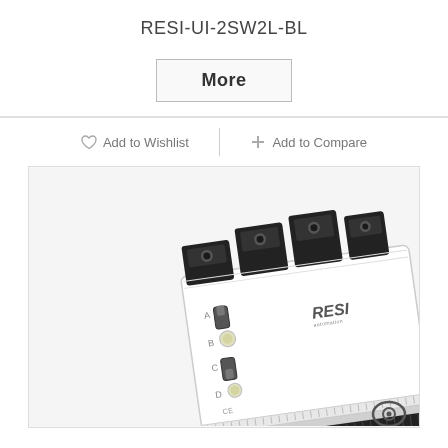RESI-UI-2SW2L-BL
More
Add to Wishlist
Add to Compare
[Figure (photo): Product photo of RESI-UI-2SW2L-BL device — a white DIN-rail mounted controller with black terminal connectors on top, toggle switches and LED indicators on the front panel, RESI logo, and a multi-pin connector strip along the bottom edge. An eye icon is visible in the bottom-right corner of the image frame.]